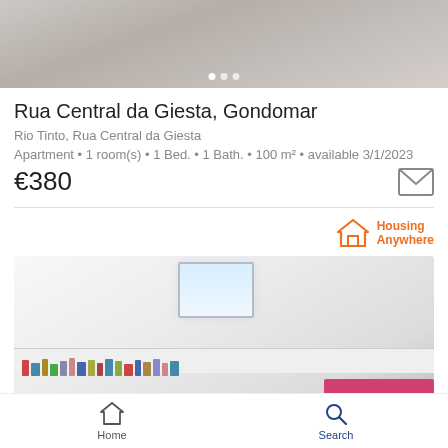[Figure (photo): Interior room photo showing furniture — top portion of a real estate listing]
Rua Central da Giesta, Gondomar
Rio Tinto, Rua Central da Giesta
Apartment • 1 room(s) • 1 Bed. • 1 Bath. • 100 m² • available 3/1/2023
€380
[Figure (logo): Housing Anywhere logo — orange house icon with text Housing Anywhere]
[Figure (photo): Interior bedroom photo with skylight window and low built-in shelving, pink bedding visible at bottom]
Home   Search